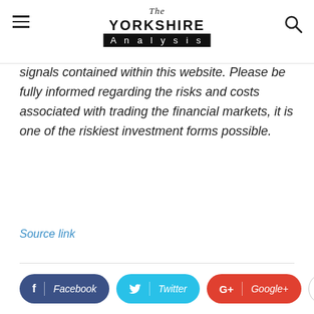The Yorkshire Analysis
signals contained within this website. Please be fully informed regarding the risks and costs associated with trading the financial markets, it is one of the riskiest investment forms possible.
Source link
[Figure (other): Social sharing buttons: Facebook (dark blue), Twitter (light blue), Google+ (red), and a white circle more button with plus sign]